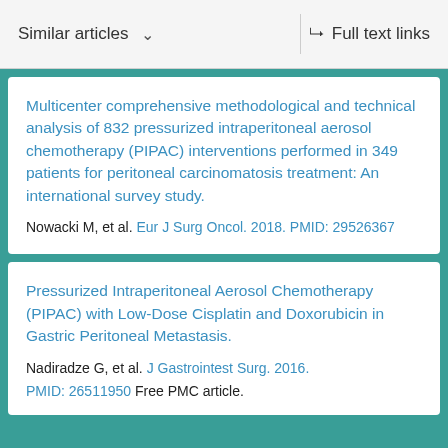Similar articles   Full text links
Multicenter comprehensive methodological and technical analysis of 832 pressurized intraperitoneal aerosol chemotherapy (PIPAC) interventions performed in 349 patients for peritoneal carcinomatosis treatment: An international survey study.
Nowacki M, et al. Eur J Surg Oncol. 2018. PMID: 29526367
Pressurized Intraperitoneal Aerosol Chemotherapy (PIPAC) with Low-Dose Cisplatin and Doxorubicin in Gastric Peritoneal Metastasis.
Nadiradze G, et al. J Gastrointest Surg. 2016. PMID: 26511950 Free PMC article.